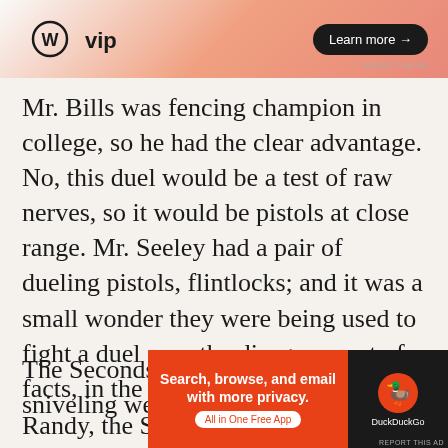[Figure (screenshot): Top advertisement banner for WordPress VIP with gradient background, WordPress logo on left and 'Learn more →' button on right]
Mr. Bills was fencing champion in college, so he had the clear advantage. No, this duel would be a test of raw nerves, so it would be pistols at close range. Mr. Seeley had a pair of dueling pistols, flintlocks; and it was a small wonder they were being used to fight a duel over the disagreement of facts, in the information age.
The Seconds were in my opinion, sniveling weasels:
Randy, the Science Teacher and Mr. Kelley, the
[Figure (screenshot): Bottom advertisement for DuckDuckGo with orange/red background on left saying 'Search, browse, and email with more privacy. All in One Free App' and DuckDuckGo logo on dark right side]